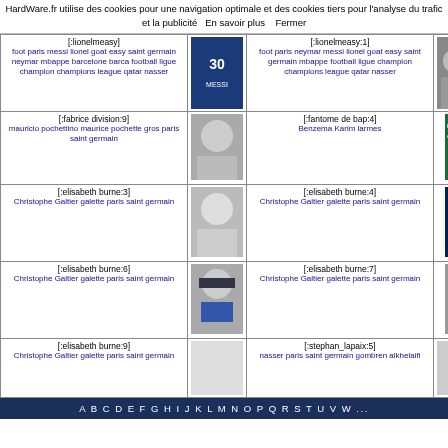HardWare.fr utilise des cookies pour une navigation optimale et des cookies tiers pour l'analyse du trafic et la publicité   En savoir plus   Fermer
| [:lionelmeasy] | [image] | [:lionelmeasy:1] | [image] |
| foot paris messi lionel goat easy saint germain neymar mbappe barcelone barca football ligue champion champions league qatar nasser |  | foot paris neymar messi lionel goat easy saint germain mbappe football ligue champion champions league qatar nasser |  |
| [:fabrice division:9] | [image] | [:fantome de bap:4] | [Larmes du PSG image] |
| mauricio pochettino maurice pochette gros paris saint germain |  | Benzema Karim larmes |  |
| [:elisabeth burne:3] | [image] | [:elisabeth burne:4] | [PSG image] |
| Christophe Galtier galette paris saint germain |  | Christophe Galtier galette paris saint germain |  |
| [:elisabeth burne:6] | [image] | [:elisabeth burne:7] | [image] |
| Christophe Galtier galette paris saint germain |  | Christophe Galtier galette paris saint germain |  |
| [:elisabeth burne:9] |  | [:stephan_lapaix:5] |  |
| Christophe Galtier galette paris saint germain |  | nasser paris saint germain gombren alkhelaifi |  |
A B C D E F G H I J K L M N O P Q R S T U V W ...
Forum MesDiscussions.Net, Version 2010
(c) 2000-2011 Doctissimo
Copyright © 1997-2022 Hardware.fr SARL (Signaler un contenu illicite / Données personnelles) / Groupe LDLC / Shop HFR